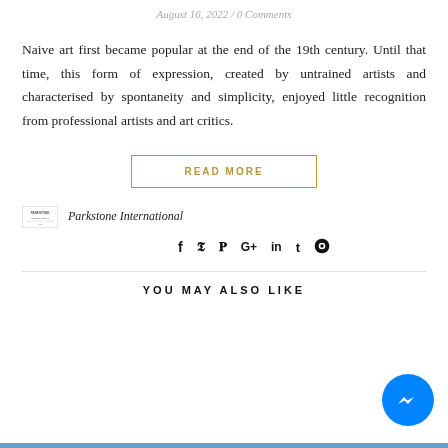August 16, 2022 / 0 Comments
Naive art first became popular at the end of the 19th century. Until that time, this form of expression, created by untrained artists and characterised by spontaneity and simplicity, enjoyed little recognition from professional artists and art critics.
READ MORE
Parkstone International
YOU MAY ALSO LIKE